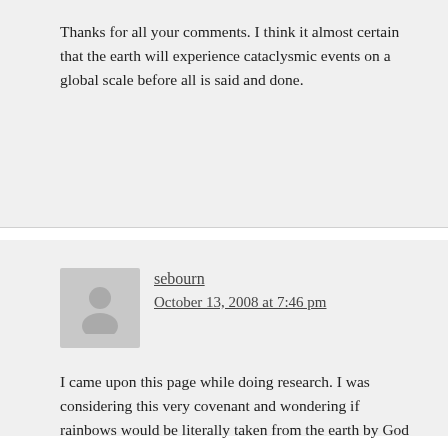Thanks for all your comments. I think it almost certain that the earth will experience cataclysmic events on a global scale before all is said and done.
sebourn
October 13, 2008 at 7:46 pm
I came upon this page while doing research. I was considering this very covenant and wondering if rainbows would be literally taken from the earth by God or if instead perhaps the covenant sign would be destroyed by us